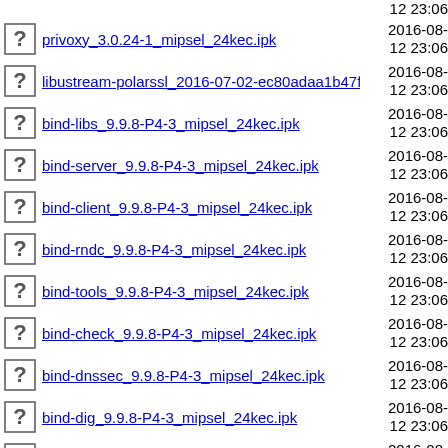privoxy_3.0.24-1_mipsel_24kec.ipk
libustream-polarssl_2016-07-02-ec80adaa1b47f28d..>
bind-libs_9.9.8-P4-3_mipsel_24kec.ipk
bind-server_9.9.8-P4-3_mipsel_24kec.ipk
bind-client_9.9.8-P4-3_mipsel_24kec.ipk
bind-rndc_9.9.8-P4-3_mipsel_24kec.ipk
bind-tools_9.9.8-P4-3_mipsel_24kec.ipk
bind-check_9.9.8-P4-3_mipsel_24kec.ipk
bind-dnssec_9.9.8-P4-3_mipsel_24kec.ipk
bind-dig_9.9.8-P4-3_mipsel_24kec.ipk
bind-host_9.9.8-P4-3_mipsel_24kec.ipk